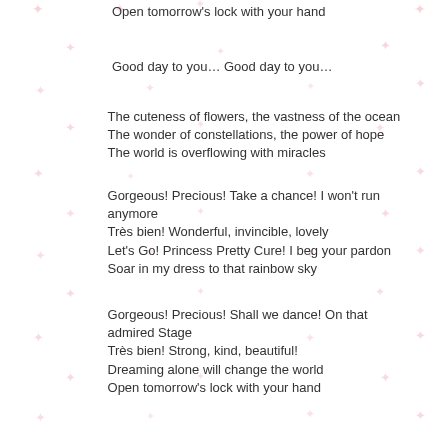Open tomorrow’s lock with your hand
Good day to you… Good day to you…
The cuteness of flowers, the vastness of the ocean
The wonder of constellations, the power of hope
The world is overflowing with miracles
Gorgeous! Precious! Take a chance! I won’t run anymore
Très bien! Wonderful, invincible, lovely
Let’s Go! Princess Pretty Cure! I beg your pardon
Soar in my dress to that rainbow sky
Gorgeous! Precious! Shall we dance! On that admired Stage
Très bien! Strong, kind, beautiful!
Dreaming alone will change the world
Open tomorrow’s lock with your hand